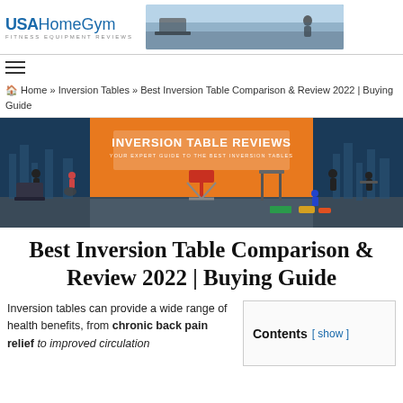USAHomeGym FITNESS EQUIPMENT REVIEWS
Home » Inversion Tables » Best Inversion Table Comparison & Review 2022 | Buying Guide
[Figure (illustration): Hero banner illustration showing a gym interior with orange center panel reading 'INVERSION TABLE REVIEWS - YOUR EXPERT GUIDE TO THE BEST INVERSION TABLES', surrounded by silhouette figures exercising on various equipment against a blue-lit background. An inversion table is prominently featured in the center foreground.]
Best Inversion Table Comparison & Review 2022 | Buying Guide
Inversion tables can provide a wide range of health benefits, from chronic back pain relief to improved circulation
Contents [ show ]